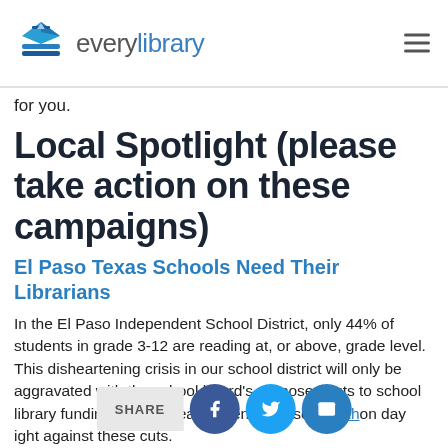everylibrary
for you.
Local Spotlight (please take action on these campaigns)
El Paso Texas Schools Need Their Librarians
In the El Paso Independent School District, only 44% of students in grade 3-12 are reading at, or above, grade level. This disheartening crisis in our school district will only be aggravated with the school board’s proposed cuts to school library funding through realignment. Please sign th[e petition] on [today] [to fight] against these cuts.